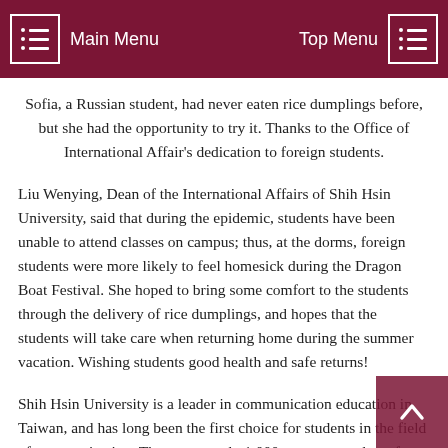Main Menu | Top Menu
Sofia, a Russian student, had never eaten rice dumplings before, but she had the opportunity to try it. Thanks to the Office of International Affair's dedication to foreign students.
Liu Wenying, Dean of the International Affairs of Shih Hsin University, said that during the epidemic, students have been unable to attend classes on campus; thus, at the dorms, foreign students were more likely to feel homesick during the Dragon Boat Festival. She hoped to bring some comfort to the students through the delivery of rice dumplings, and hopes that the students will take care when returning home during the summer vacation. Wishing students good health and safe returns!
Shih Hsin University is a leader in communication education in Taiwan, and has long been the first choice for students in the field of communication. There are nearly 1,000 overseas students from various countries on the campus. In order to